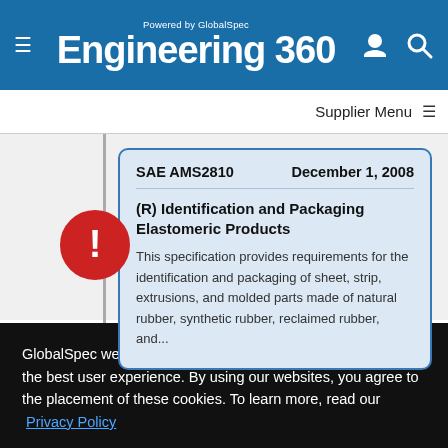Engineering 360 — Powered by GlobalSpec
Supplier Menu
SAE AMS2810   December 1, 2008
(R) Identification and Packaging Elastomeric Products
This specification provides requirements for the identification and packaging of sheet, strip, extrusions, and molded parts made of natural rubber, synthetic rubber, reclaimed rubber, and...
GlobalSpec websites place cookies on your device to give you the best user experience. By using our websites, you agree to the placement of these cookies. To learn more, read our Privacy Policy